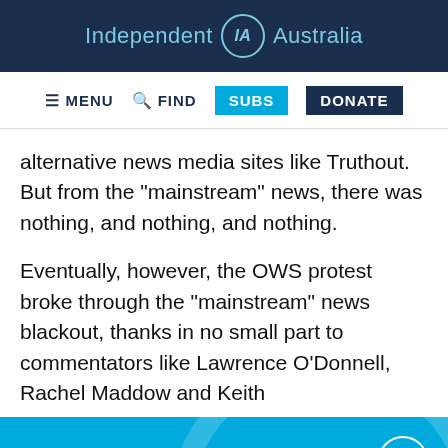Independent IA Australia
MENU  FIND  SUBS  DONATE
alternative news media sites like Truthout. But from the "mainstream" news, there was nothing, and nothing, and nothing.
Eventually, however, the OWS protest broke through the "mainstream" news blackout, thanks in no small part to commentators like Lawrence O'Donnell, Rachel Maddow and Keith
Support IA
Twitter  Facebook  LinkedIn  Flipboard  Link  More